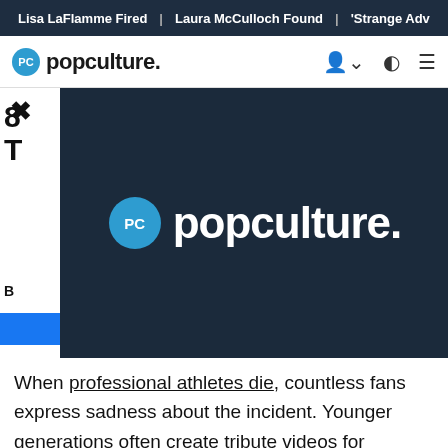Lisa LaFlamme Fired | Laura McCulloch Found | 'Strange Adv
popculture.
[Figure (logo): PopCulture.com logo overlay on dark navy background — large blue circular PC badge with 'popculture.' text in white]
8... T...
B...
When professional athletes die, countless fans express sadness about the incident. Younger generations often create tribute videos for YouTube, Twitter, and other